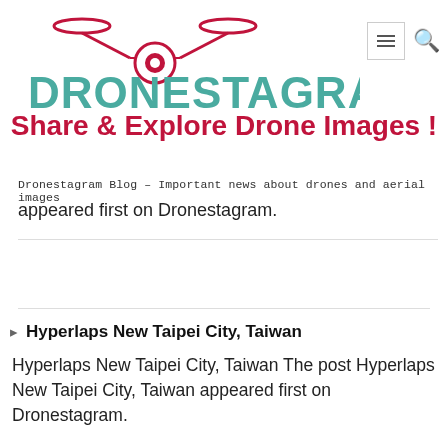[Figure (logo): Dronestagram logo with drone icon above text DRONESTAGRAM in teal letters and red drone graphic]
Share & Explore Drone Images !
Dronestagram Blog - Important news about drones and aerial images appeared first on Dronestagram.
Hyperlaps New Taipei City, Taiwan
Hyperlaps New Taipei City, Taiwan The post Hyperlaps New Taipei City, Taiwan appeared first on Dronestagram.